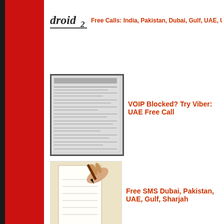[Figure (logo): droid2 logo text with underline]
Free Calls: India, Pakistan, Dubai, Gulf, UAE, USA,
[Figure (screenshot): Thumbnail screenshot of a document/article page]
VOIP Blocked? Try Viber: UAE Free Call
[Figure (illustration): Illustration of a hand writing on paper with a pen]
Free SMS Dubai, Pakistan, UAE, Gulf, Sharjah
Track & Analyze, Cell IMEI Number: Online For Free
[Figure (screenshot): Thumbnail screenshot of an article page]
UAE: How to get Etisalat & DU VoIP Calling C
[Figure (photo): Photo of a person, partially visible at the bottom]
Watch DLF- IPL-T 20 Live: Cricket Stream On